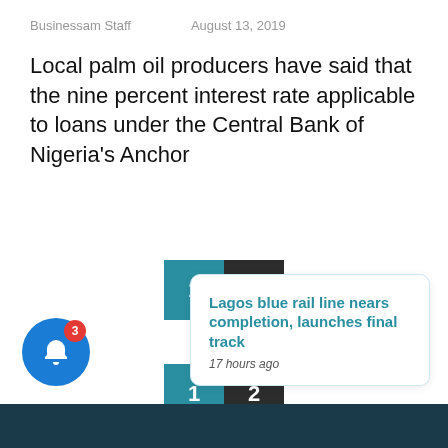Businessam Staff    August 13, 2019
Local palm oil producers have said that the nine percent interest rate applicable to loans under the Central Bank of Nigeria's Anchor
[Figure (other): Pagination buttons: teal button labeled 1, dark button labeled 2]
[Figure (other): Pagination buttons (second set): teal button labeled 1, dark button labeled 2]
[Figure (other): Close button (X) dark circle, notification popup with link 'Lagos blue rail line nears completion, launches final track' and timestamp '17 hours ago', and blue bell icon button with red badge showing 3]